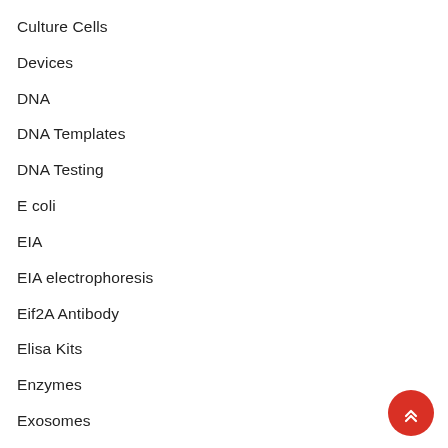Culture Cells
Devices
DNA
DNA Templates
DNA Testing
E coli
EIA
EIA electrophoresis
Eif2A Antibody
Elisa Kits
Enzymes
Exosomes